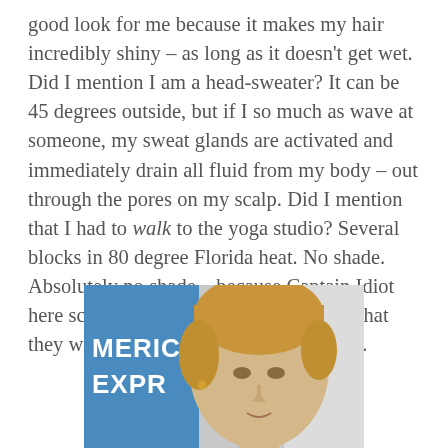good look for me because it makes my hair incredibly shiny – as long as it doesn't get wet. Did I mention I am a head-sweater? It can be 45 degrees outside, but if I so much as wave at someone, my sweat glands are activated and immediately drain all fluid from my body – out through the pores on my scalp. Did I mention that I had to walk to the yoga studio? Several blocks in 80 degree Florida heat. No shade. Absolutely no shade…because Captain Idiot here scheduled her classes at NOON so that they wouldn't interfere with Happy Hour.
[Figure (photo): A blonde woman with a short pixie cut photographed in front of an American Express banner/backdrop. The image is cropped showing her face and upper shoulders.]